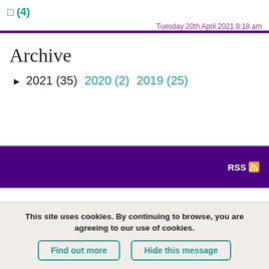□ (4)
Tuesday 20th April 2021 8:18 am
Archive
▶ 2021 (35)   2020 (2)   2019 (25)
[Figure (other): Dark purple footer bar with RSS icon on the right]
Terms of Use | Privacy Policy | Contact
This site uses cookies. By continuing to browse, you are agreeing to our use of cookies.